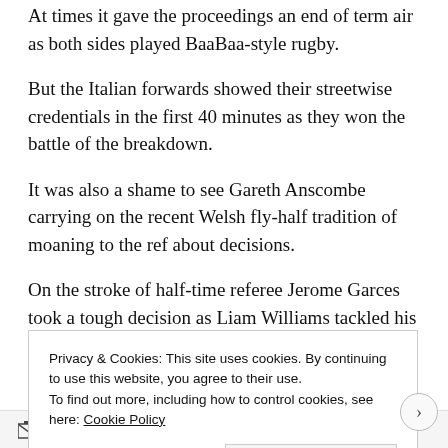At times it gave the proceedings an end of term air as both sides played BaaBaa-style rugby.
But the Italian forwards showed their streetwise credentials in the first 40 minutes as they won the battle of the breakdown.
It was also a shame to see Gareth Anscombe carrying on the recent Welsh fly-half tradition of moaning to the ref about decisions.
On the stroke of half-time referee Jerome Garces took a tough decision as Liam Williams tackled his opposite number in touch, but used his shoulder in an ugly tackle.
Privacy & Cookies: This site uses cookies. By continuing to use this website, you agree to their use.
To find out more, including how to control cookies, see here: Cookie Policy
Close and accept
Follow ...